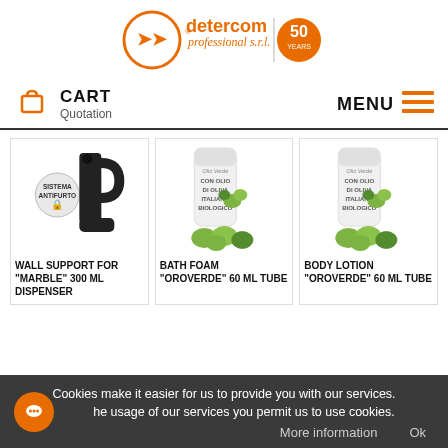[Figure (logo): Detercom Professional S.r.l. logo with orange circle arrow icon and 50 years anniversary badge]
CART Quotation | MENU
[Figure (photo): Wall support for Marble 300 ml dispenser - black metal hook/support device]
WALL SUPPORT for "MARBLE" 300 ml dispenser
[Figure (photo): Bath Foam Oroverde 60 ml tube with olive oil branding and green olives]
BATH FOAM "OROVERDE" 60 ml tube
[Figure (photo): Body Lotion Oroverde 60 ml tube with olive oil branding and green olives]
BODY LOTION "OROVERDE" 60 ml tube
Cookies make it easier for us to provide you with our services. By the usage of our services you permit us to use cookies.
More information  Ok